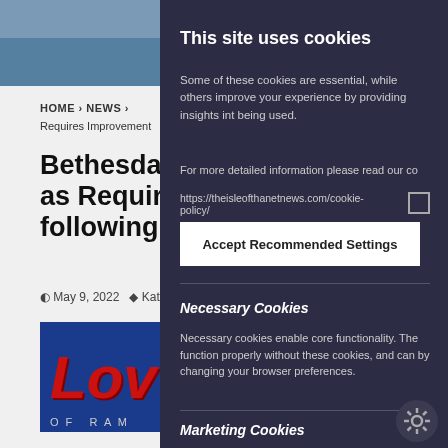[Figure (screenshot): Background website page showing navigation bar, breadcrumb, article title about Bethesda Medical, date May 9 2022, and Love logo image]
This site uses cookies
Some of these cookies are essential, while others improve your experience by providing insights into being used.
For more detailed information please read our co
https://theisleofthanetnews.com/cookie-policy/
Accept Recommended Settings
Necessary Cookies
Necessary cookies enable core functionality. The function properly without these cookies, and can by changing your browser preferences.
Marketing Cookies
Marketing cookies are used to trac